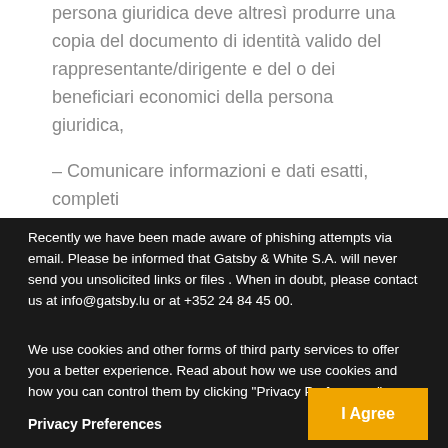persona giuridica deve altresì produrre una copia del documento di identità valido del rappresentante/dirigente e del o dei beneficiari economici della persona giuridica,
– Comunicare informazioni e dati esatti, completi e validi conformemente all'articolo 3 della
Recently we have been made aware of phishing attempts via email. Please be informed that Gatsby & White S.A. will never send you unsolicited links or files . When in doubt, please contact us at info@gatsby.lu or at +352 24 84 45 00.
We use cookies and other forms of third party services to offer you a better experience. Read about how we use cookies and how you can control them by clicking "Privacy Preferences".
Privacy Preferences
I Agree